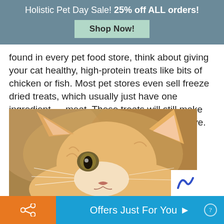Holistic Pet Day Sale! 25% off ALL orders!
Shop Now!
found in every pet food store, think about giving your cat healthy, high-protein treats like bits of chicken or fish. Most pet stores even sell freeze dried treats, which usually just have one ingredient — meat. These treats will still make your kitty happy, but are a healthier alternative.
[Figure (photo): Close-up photo of an orange tabby cat looking upward with large ears and amber eyes]
Offers Just For You